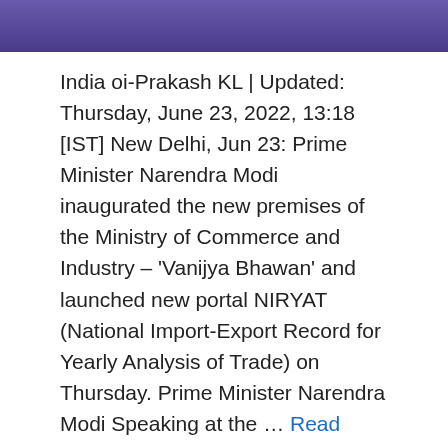[Figure (photo): Banner image at top of page showing people against a purple/dark blue background]
India oi-Prakash KL | Updated: Thursday, June 23, 2022, 13:18 [IST] New Delhi, Jun 23: Prime Minister Narendra Modi inaugurated the new premises of the Ministry of Commerce and Industry – 'Vanijya Bhawan' and launched new portal NIRYAT (National Import-Export Record for Yearly Analysis of Trade) on Thursday. Prime Minister Narendra Modi Speaking at the … Read more
Indian News
Bhawan, CitizenCentric, country, direction, event, Governance, modi, moving, Vanijya